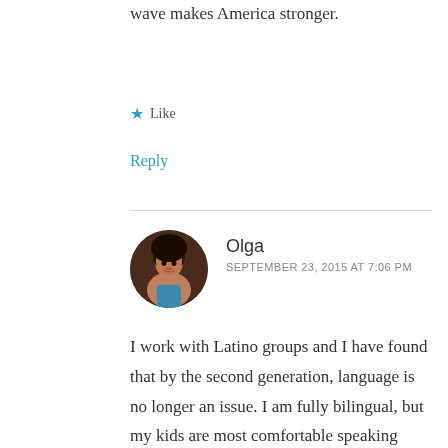wave makes America stronger.
★ Like
Reply
Olga
SEPTEMBER 23, 2015 AT 7:06 PM
[Figure (photo): Circular avatar photo of a woman named Olga]
I work with Latino groups and I have found that by the second generation, language is no longer an issue. I am fully bilingual, but my kids are most comfortable speaking English. This happens in every single household I have visited. There will be an exchange of artifacts, for example, salsa being as popular